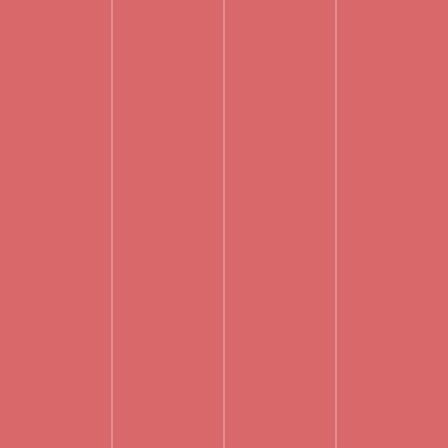[Figure (illustration): Repeating pattern on a salmon/rose pink background featuring alternating white geometric 'O' ring shapes (concentric circles with crosshair lines) and stylized bold white 'M' letterforms arranged in a grid. The 'O' shapes have an inner and outer ring with vertical and horizontal guide lines. The 'M' letters have a bold art-deco double-stroke style. The pattern repeats in rows: row of O's, row of MOM, row of O's, row of MOM, etc.]